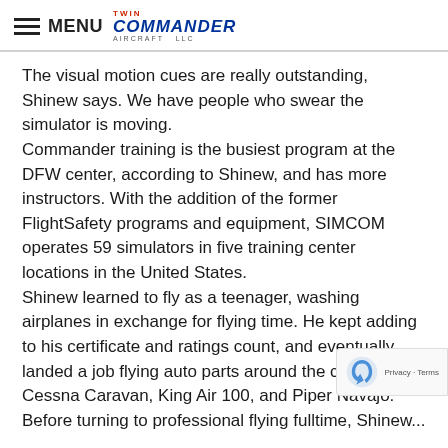MENU Twin Commander Aircraft LLC
The visual motion cues are really outstanding, Shinew says. We have people who swear the simulator is moving.
Commander training is the busiest program at the DFW center, according to Shinew, and has more instructors. With the addition of the former FlightSafety programs and equipment, SIMCOM operates 59 simulators in five training center locations in the United States.
Shinew learned to fly as a teenager, washing airplanes in exchange for flying time. He kept adding to his certificate and ratings count, and eventually landed a job flying auto parts around the country in a Cessna Caravan, King Air 100, and Piper Navajo.
Before turning to professional flying fulltime, Shinew...